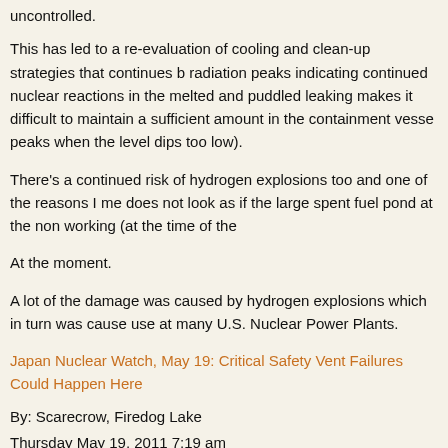uncontrolled.
This has led to a re-evaluation of cooling and clean-up strategies that continues b radiation peaks indicating continued nuclear reactions in the melted and puddled leaking makes it difficult to maintain a sufficient amount in the containment vesse peaks when the level dips too low).
There's a continued risk of hydrogen explosions too and one of the reasons I me does not look as if the large spent fuel pond at the non working (at the time of the
At the moment.
A lot of the damage was caused by hydrogen explosions which in turn was cause use at many U.S. Nuclear Power Plants.
Japan Nuclear Watch, May 19: Critical Safety Vent Failures Could Happen Here
By: Scarecrow, Firedog Lake
Thursday May 19, 2011 7:19 am
As we've explained in previous Japan Watch posts, that sequence led inexor the reactor vessels at Units 1-3. (All of Unit 4's fuel was in the storage pool, w these meltdowns were likely total.
...
Altho...